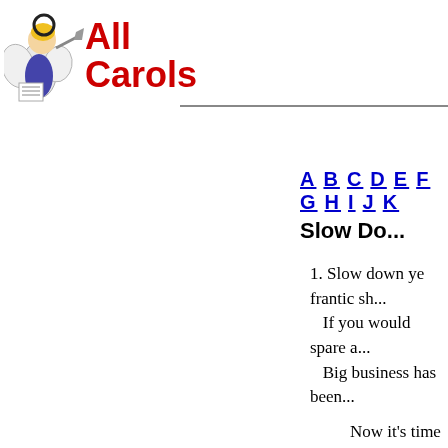[Figure (logo): Angel figure blowing a trumpet, with music sheet]
All Carols
A B C D E F G H I J ...
Slow Do...
1. Slow down ye frantic s...
   If you would spare a...
   Big business has been...
Now it's time we d...
Yes it's tim...
2. To some folks Christma...
   And enemies migh...
   But TV says it's ti...
Now it's time we d...